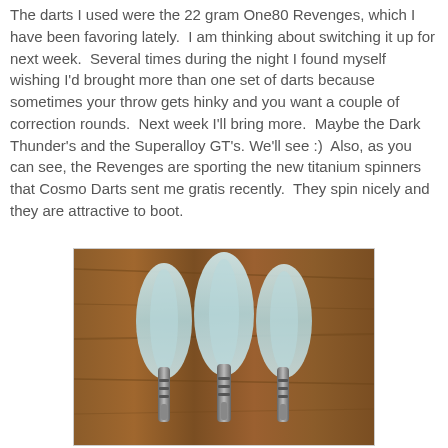The darts I used were the 22 gram One80 Revenges, which I have been favoring lately.  I am thinking about switching it up for next week.  Several times during the night I found myself wishing I'd brought more than one set of darts because sometimes your throw gets hinky and you want a couple of correction rounds.  Next week I'll bring more.  Maybe the Dark Thunder's and the Superalloy GT's. We'll see :)  Also, as you can see, the Revenges are sporting the new titanium spinners that Cosmo Darts sent me gratis recently.  They spin nicely and they are attractive to boot.
[Figure (photo): Photo of three darts with light blue/white flights standing upright against a wooden surface background, showing the flights and upper barrel portion of the darts.]